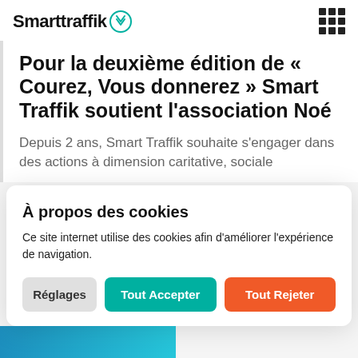SmartTraffik
Pour la deuxième édition de « Courez, Vous donnerez » Smart Traffik soutient l'association Noé
Depuis 2 ans, Smart Traffik souhaite s'engager dans des actions à dimension caritative, sociale
À propos des cookies
Ce site internet utilise des cookies afin d'améliorer l'expérience de navigation.
Réglages  Tout Accepter  Tout Rejeter